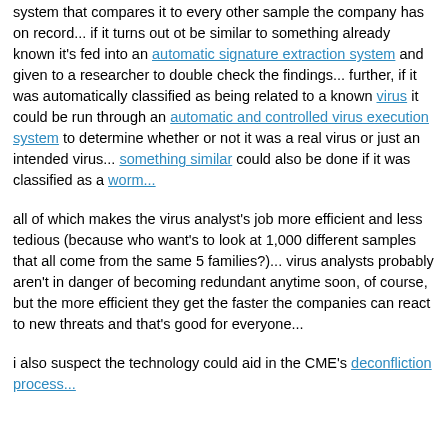system that compares it to every other sample the company has on record... if it turns out ot be similar to something already known it's fed into an automatic signature extraction system and given to a researcher to double check the findings... further, if it was automatically classified as being related to a known virus it could be run through an automatic and controlled virus execution system to determine whether or not it was a real virus or just an intended virus... something similar could also be done if it was classified as a worm...
all of which makes the virus analyst's job more efficient and less tedious (because who want's to look at 1,000 different samples that all come from the same 5 families?)... virus analysts probably aren't in danger of becoming redundant anytime soon, of course, but the more efficient they get the faster the companies can react to new threats and that's good for everyone...
i also suspect the technology could aid in the CME's deconfliction process...